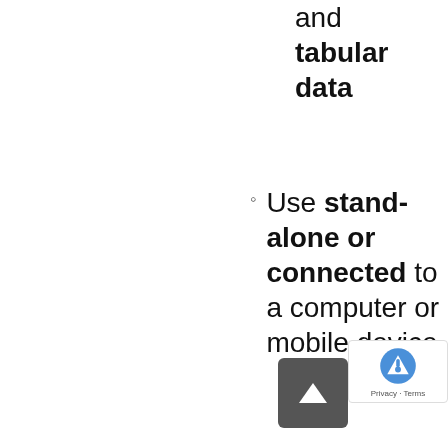and tabular data
Use stand-alone or connected to a computer or mobile device
Book-reader mode – read your favorite